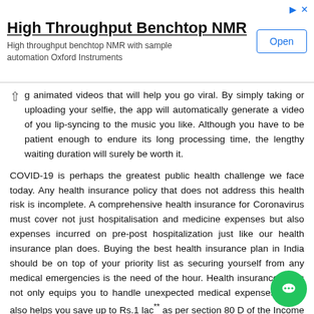[Figure (other): Advertisement banner for High Throughput Benchtop NMR by Oxford Instruments with an Open button]
g animated videos that will help you go viral. By simply taking or uploading your selfie, the app will automatically generate a video of you lip-syncing to the music you like. Although you have to be patient enough to endure its long processing time, the lengthy waiting duration will surely be worth it.
COVID-19 is perhaps the greatest public health challenge we face today. Any health insurance policy that does not address this health risk is incomplete. A comprehensive health insurance for Coronavirus must cover not just hospitalisation and medicine expenses but also expenses incurred on pre-post hospitalization just like our health insurance plan does. Buying the best health insurance plan in India should be on top of your priority list as securing yourself from any medical emergencies is the need of the hour. Health insurance plans not only equips you to handle unexpected medical expenses, but it also helps you save up to Rs.1 lac** as per section 80 D of the Income Tax Act, 1961. So, don't let your health take a back seat and get yourself insured.